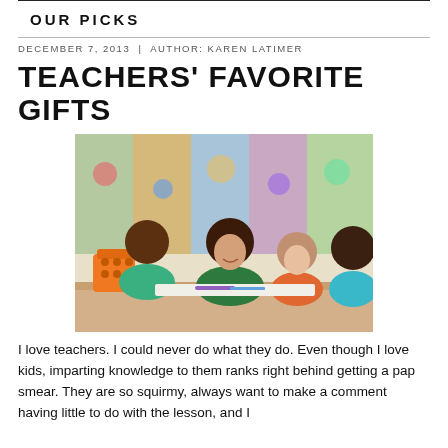OUR PICKS
DECEMBER 7, 2013  |  AUTHOR: KAREN LATIMER
TEACHERS' FAVORITE GIFTS
[Figure (photo): A female teacher with dark hair wearing a green top leans over a table helping three young children who are drawing or writing. Colorful artwork is visible on the classroom wall in the background. An orange basket of supplies sits on the table.]
I love teachers. I could never do what they do. Even though I love kids, imparting knowledge to them ranks right behind getting a pap smear. They are so squirmy, always want to make a comment having little to do with the lesson, and I